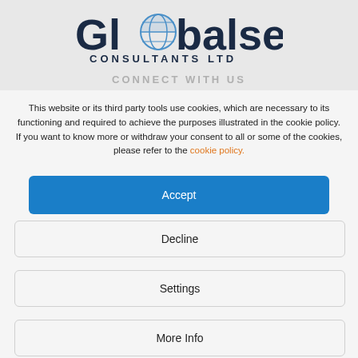[Figure (logo): Globalserve Consultants Ltd logo with globe icon replacing the 'o' in Global, blue and dark text]
CONNECT WITH US
This website or its third party tools use cookies, which are necessary to its functioning and required to achieve the purposes illustrated in the cookie policy. If you want to know more or withdraw your consent to all or some of the cookies, please refer to the cookie policy.
Accept
Decline
Settings
More Info